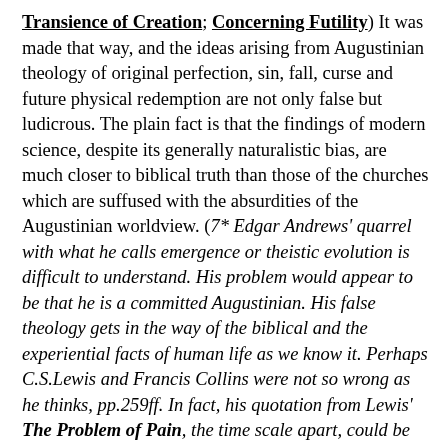Transience of Creation; Concerning Futility) It was made that way, and the ideas arising from Augustinian theology of original perfection, sin, fall, curse and future physical redemption are not only false but ludicrous. The plain fact is that the findings of modern science, despite its generally naturalistic bias, are much closer to biblical truth than those of the churches which are suffused with the absurdities of the Augustinian worldview. (7* Edgar Andrews' quarrel with what he calls emergence or theistic evolution is difficult to understand. His problem would appear to be that he is a committed Augustinian. His false theology gets in the way of the biblical and the experiential facts of human life as we know it. Perhaps C.S.Lewis and Francis Collins were not so wrong as he thinks, pp.259ff. In fact, his quotation from Lewis' The Problem of Pain, the time scale apart, could be the description of the formation of a baby! If this is correct, it confirms my view that